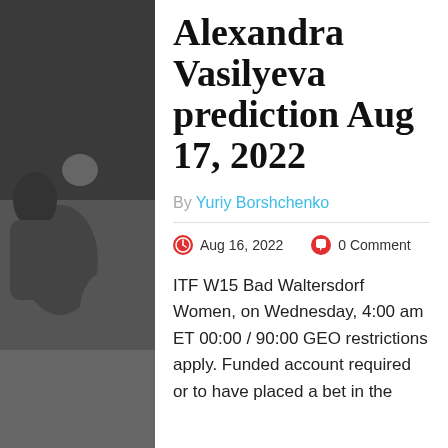[Figure (photo): Black and white background photo of football/sports players in action]
Alexandra Vasilyeva prediction Aug 17, 2022
By Yuriy Borshchenko
Aug 16, 2022   0 Comment
ITF W15 Bad Waltersdorf Women, on Wednesday, 4:00 am ET 00:00 / 90:00 GEO restrictions apply. Funded account required or to have placed a bet in the